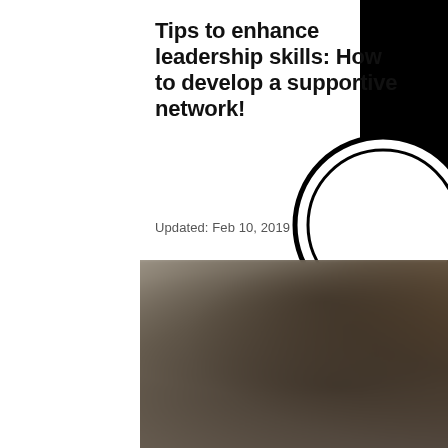Tips to enhance leadership skills: How to develop a supportive network!
Updated: Feb 10, 2019
[Figure (photo): Blurred photo of professional women in a business networking or leadership setting, with two individuals visible in the foreground]